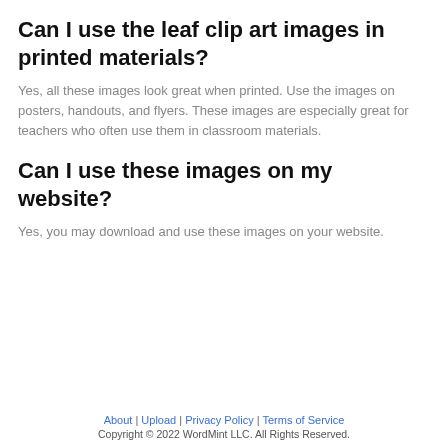Can I use the leaf clip art images in printed materials?
Yes, all these images look great when printed. Use the images on posters, handouts, and flyers. These images are especially great for teachers who often use them in classroom materials.
Can I use these images on my website?
Yes, you may download and use these images on your website.
About | Upload | Privacy Policy | Terms of Service
Copyright © 2022 WordMint LLC. All Rights Reserved.